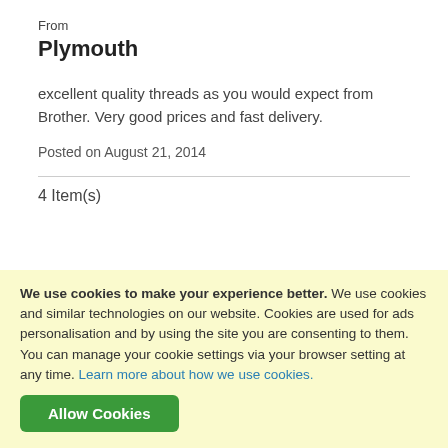From
Plymouth
excellent quality threads as you would expect from Brother. Very good prices and fast delivery.
Posted on August 21, 2014
4 Item(s)
[Figure (other): Trustpilot widget with green top bar, grey background, mountain silhouettes, and five orange stars]
We use cookies to make your experience better. We use cookies and similar technologies on our website. Cookies are used for ads personalisation and by using the site you are consenting to them. You can manage your cookie settings via your browser setting at any time. Learn more about how we use cookies.
Allow Cookies